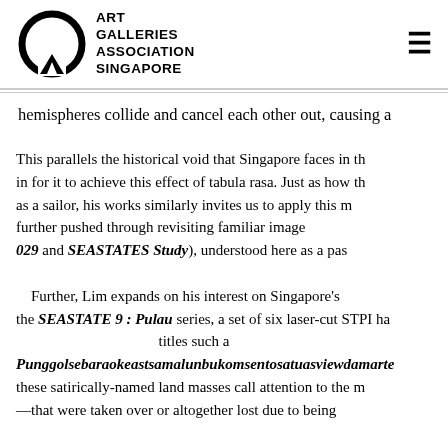Art Galleries Association Singapore
hemispheres collide and cancel each other out, causing a
This parallels the historical void that Singapore faces in th... in for it to achieve this effect of tabula rasa. Just as how th... as a sailor, his works similarly invites us to apply this m... further pushed through revisiting familiar image... 029 and SEASTATES Study), understood here as a pas... Further, Lim expands on his interest on Singapore's... the SEASTATE 9 : Pulau series, a set of six laser-cut STPI ha... titles such a... Punggolsebaraokeastsamalunbukomsentosatuasviewdamarte... these satirically-named land masses call attention to the m... —that were taken over or altogether lost due to being...